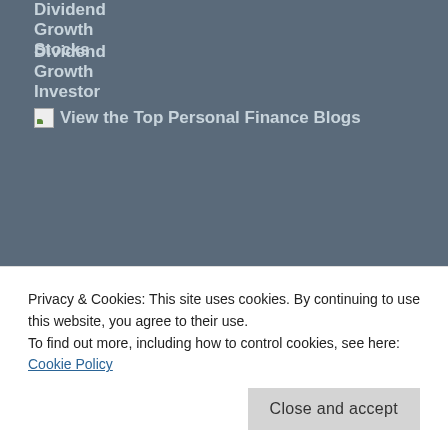Dividend Growth Stocks
Dividend Growth Investor
[Figure (other): Broken image with alt text: View the Top Personal Finance Blogs]
Privacy & Cookies: This site uses cookies. By continuing to use this website, you agree to their use.
To find out more, including how to control cookies, see here: Cookie Policy
Close and accept